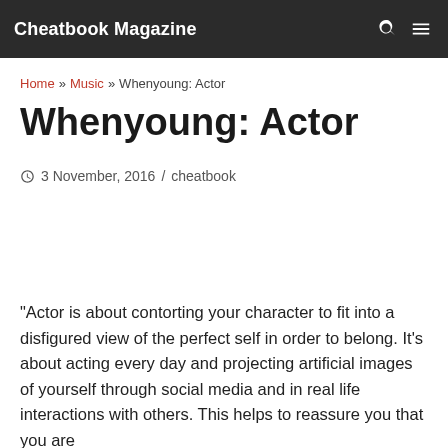Cheatbook Magazine
Home » Music » Whenyoung: Actor
Whenyoung: Actor
3 November, 2016 / cheatbook
“Actor is about contorting your character to fit into a disfigured view of the perfect self in order to belong. It’s about acting every day and projecting artificial images of yourself through social media and in real life interactions with others. This helps to reassure you that you are